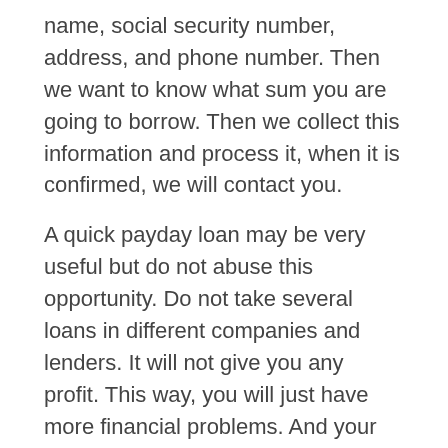name, social security number, address, and phone number. Then we want to know what sum you are going to borrow. Then we collect this information and process it, when it is confirmed, we will contact you.
A quick payday loan may be very useful but do not abuse this opportunity. Do not take several loans in different companies and lenders. It will not give you any profit. This way, you will just have more financial problems. And your life does not deserve it.
APPLY NOW!
Nearest Locations to Vendor, Arkansas are:
Compton, Arkansas